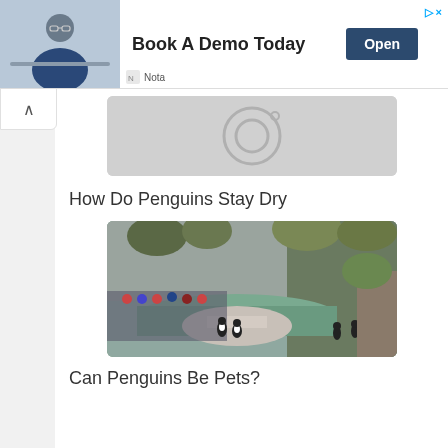[Figure (photo): Advertisement banner: man with glasses sitting at desk, 'Book A Demo Today' text, Open button, Nota branding]
[Figure (photo): Placeholder image with camera icon (gray background)]
How Do Penguins Stay Dry
[Figure (photo): Zoo penguin enclosure with water, rocks, penguins, and visitors in background]
Can Penguins Be Pets?